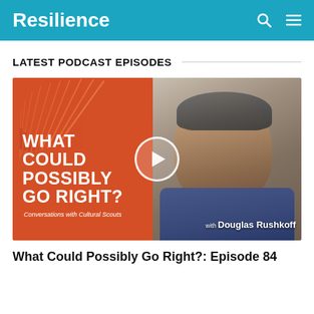Resilience
LATEST PODCAST EPISODES
[Figure (screenshot): Podcast episode thumbnail split image: left half shows orange/red background with sun ray illustration and bold white text 'WHAT COULD POSSIBLY GO RIGHT?' and italic subtitle 'Conversations with Cultural Scouts'; right half shows a photo of Douglas Rushkoff against a stone wall. A circular play button overlay is centered on the image. Text 'with Douglas Rushkoff' appears at bottom right.]
What Could Possibly Go Right?: Episode 84